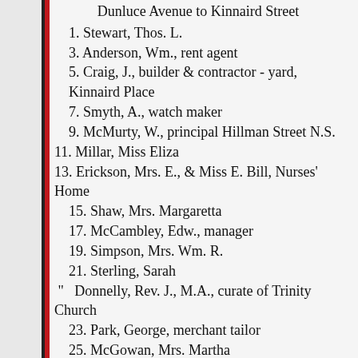Dunluce Avenue to Kinnaird Street
1. Stewart, Thos. L.
3. Anderson, Wm., rent agent
5. Craig, J., builder & contractor - yard, Kinnaird Place
7. Smyth, A., watch maker
9. McMurty, W., principal Hillman Street N.S.
11. Millar, Miss Eliza
13. Erickson, Mrs. E., & Miss E. Bill, Nurses' Home
15. Shaw, Mrs. Margaretta
17. McCambley, Edw., manager
19. Simpson, Mrs. Wm. R.
21. Sterling, Sarah
"  Donnelly, Rev. J., M.A., curate of Trinity Church
23. Park, George, merchant tailor
25. McGowan, Mrs. Martha
27. Allison, J., commercial traveller
29. Levine, Myer, draper
31. McConkey, John
33. Vacant
35. Reid, Archibald
37. Duncan, Mrs.
39. Buchanan, Mrs.